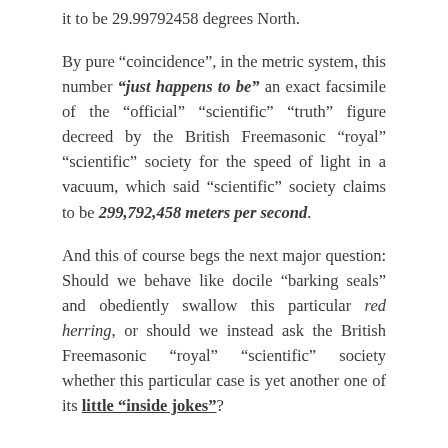it to be 29.99792458 degrees North.
By pure “coincidence”, in the metric system, this number “just happens to be” an exact facsimile of the “official” “scientific” “truth” figure decreed by the British Freemasonic “royal” “scientific” society for the speed of light in a vacuum, which said “scientific” society claims to be 299,792,458 meters per second.
And this of course begs the next major question: Should we behave like docile “barking seals” and obediently swallow this particular red herring, or should we instead ask the British Freemasonic “royal” “scientific” society whether this particular case is yet another one of its little “inside jokes”?